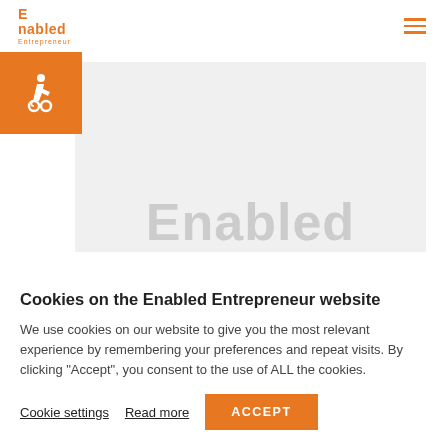Enabled Entrepreneur
[Figure (logo): Enabled Entrepreneur logo with orange text and accessibility icon in orange square]
[Figure (photo): Hero image with large gray 'Enabled' text on light gray background]
Cookies on the Enabled Entrepreneur website
We use cookies on our website to give you the most relevant experience by remembering your preferences and repeat visits. By clicking "Accept", you consent to the use of ALL the cookies.
Cookie settings  Read more  ACCEPT